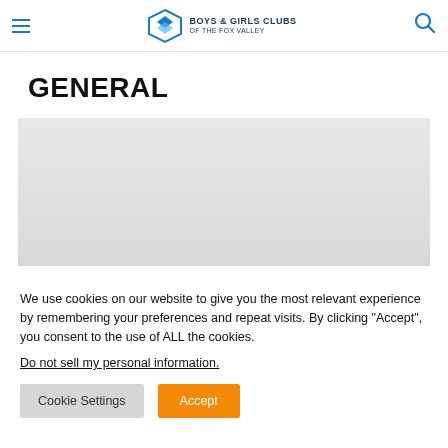Boys & Girls Clubs of the Fox Valley — navigation header
GENERAL
[Figure (photo): Gray placeholder image area below the GENERAL heading]
We use cookies on our website to give you the most relevant experience by remembering your preferences and repeat visits. By clicking “Accept”, you consent to the use of ALL the cookies.
Do not sell my personal information.
Cookie Settings   Accept